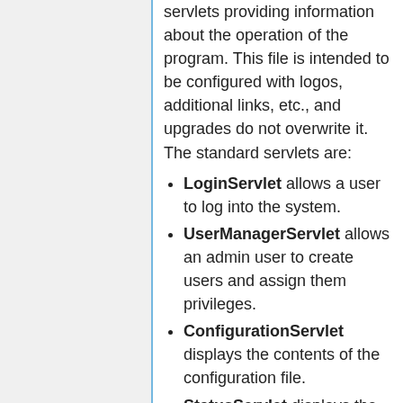servlets providing information about the operation of the program. This file is intended to be configured with logos, additional links, etc., and upgrades do not overwrite it. The standard servlets are:
LoginServlet allows a user to log into the system.
UserManagerServlet allows an admin user to create users and assign them privileges.
ConfigurationServlet displays the contents of the configuration file.
StatusServlet displays the status of all pipeline stages.
LogServlet provides web access to all log files in the logs directory.
QuarantineServlet provides web access to all quarantine directories and their contents.